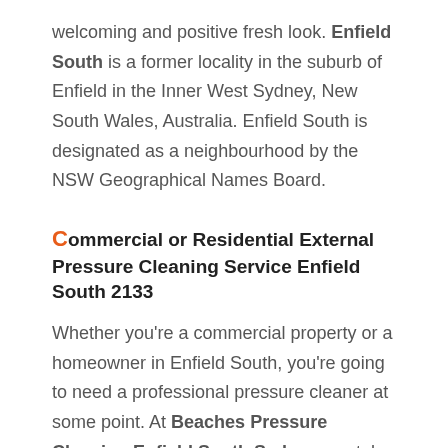welcoming and positive fresh look. Enfield South is a former locality in the suburb of Enfield in the Inner West Sydney, New South Wales, Australia. Enfield South is designated as a neighbourhood by the NSW Geographical Names Board.
Commercial or Residential External Pressure Cleaning Service Enfield South 2133
Whether you're a commercial property or a homeowner in Enfield South, you're going to need a professional pressure cleaner at some point. At Beaches Pressure Cleaning Enfield South Sydney, we take pride in the quality of the service we provide and that's why we are quickly growing our client's list from referrals. Keeping your exterior clean is not only about keeping up...